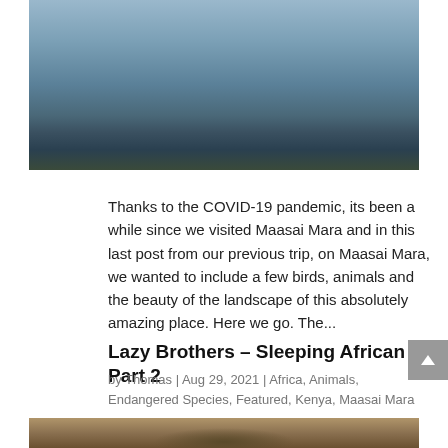[Figure (photo): Partial view of a wading bird near rocks in shallow water, cropped at top of frame]
Thanks to the COVID-19 pandemic, its been a while since we visited Maasai Mara and in this last post from our previous trip, on Maasai Mara, we wanted to include a few birds, animals and the beauty of the landscape of this absolutely amazing place. Here we go. The...
Lazy Brothers – Sleeping African Lions Part 2
by Thomas | Aug 29, 2021 | Africa, Animals, Endangered Species, Featured, Kenya, Maasai Mara
[Figure (photo): Partial view of a lion, showing fur/mane, cropped at bottom of frame]